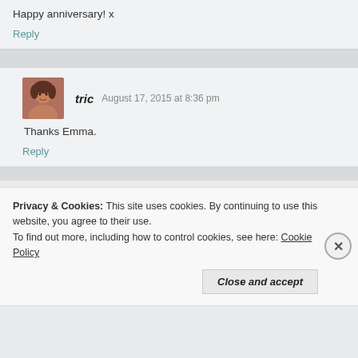Happy anniversary! x
Reply
tric   August 17, 2015 at 8:36 pm
Thanks Emma.
Reply
Privacy & Cookies: This site uses cookies. By continuing to use this website, you agree to their use.
To find out more, including how to control cookies, see here: Cookie Policy
Close and accept